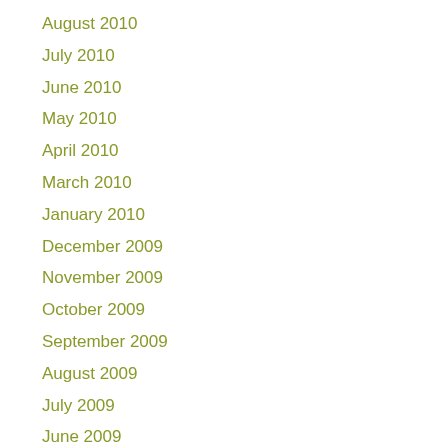August 2010
July 2010
June 2010
May 2010
April 2010
March 2010
January 2010
December 2009
November 2009
October 2009
September 2009
August 2009
July 2009
June 2009
May 2009
March 2009
February 2009
January 2009
December 2008
October 2008
September 2008